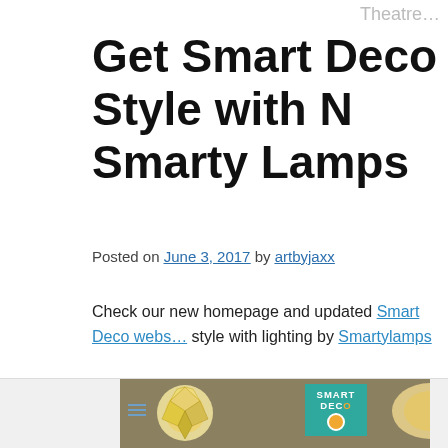Theatre…
Get Smart Deco Style with Smarty Lamps
Posted on June 3, 2017 by artbyjaxx
Check our new homepage and updated Smart Deco website for style with lighting by Smartylamps
Smartylamps offer a range of designer inspired, retro style ceiling pendant lampshades and lamps that give a contemporary look when vamping a room. Smartylamps are based in the UK and supply pre-assembled, complete light shades that are ready to install
[Figure (photo): Photo of designer lampshades with Smart Deco logo branding, showing glowing geometric pendant lampshades on a warm brown/tan background]